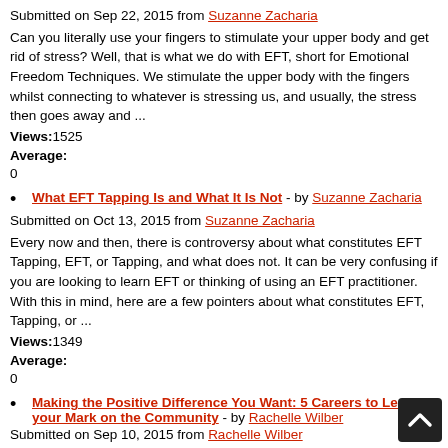Submitted on Sep 22, 2015 from Suzanne Zacharia
Can you literally use your fingers to stimulate your upper body and get rid of stress? Well, that is what we do with EFT, short for Emotional Freedom Techniques. We stimulate the upper body with the fingers whilst connecting to whatever is stressing us, and usually, the stress then goes away and ...
Views:1525
Average:
0
What EFT Tapping Is and What It Is Not - by Suzanne Zacharia
Submitted on Oct 13, 2015 from Suzanne Zacharia
Every now and then, there is controversy about what constitutes EFT Tapping, EFT, or Tapping, and what does not. It can be very confusing if you are looking to learn EFT or thinking of using an EFT practitioner. With this in mind, here are a few pointers about what constitutes EFT, Tapping, or ...
Views:1349
Average:
0
Making the Positive Difference You Want: 5 Careers to Leave your Mark on the Community - by Rachelle Wilber
Submitted on Sep 10, 2015 from Rachelle Wilber
The purpose of employment isn't just limited to financial stability and growth. An appropriately chosen career is also an excellent way to give back to the community. Below introduces five careers that not only guarantee a great earning potential, but also the chance to leave your mark on the ...